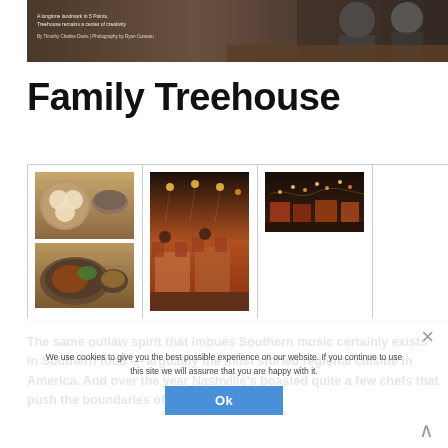[Figure (photo): Hero image of a restaurant/bar setting with two people behind a counter, dimly lit interior with warm tones. Caption text: 'A longtime landmark in 5 Points, Treehouse remains a center of creativity'. By Timothy Charles Davis | Photography by Ryan Comeau.]
Family Treehouse
[Figure (photo): Photo gallery grid showing three restaurant photos: food dishes overhead, restaurant interior with warm lighting, and aerial/street view night shot.]
The same outlaw spirit that imbues Southern music certainly exists in Southern food — arguably the most storied regional cuisine in America. And over the year Nashville's boasted quite a few chefs that push the boundaries of what's expected.